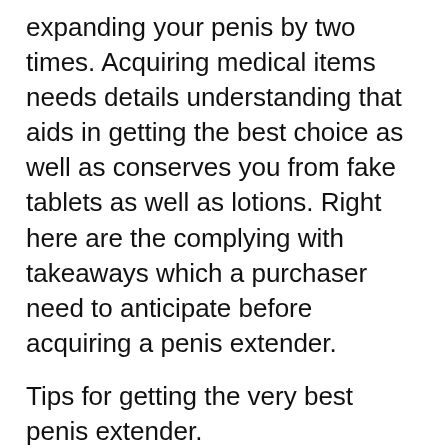expanding your penis by two times. Acquiring medical items needs details understanding that aids in getting the best choice as well as conserves you from fake tablets as well as lotions. Right here are the complying with takeaways which a purchaser need to anticipate before acquiring a penis extender.
Tips for getting the very best penis extender.
Convenience level: The very first and also one of the most crucial acquiring idea is comfort. Look for a painless, easy-to-wear penis extender. The product which composes the extender must be comforting and also allergy-free.
Credibility: Penis extender must be medically